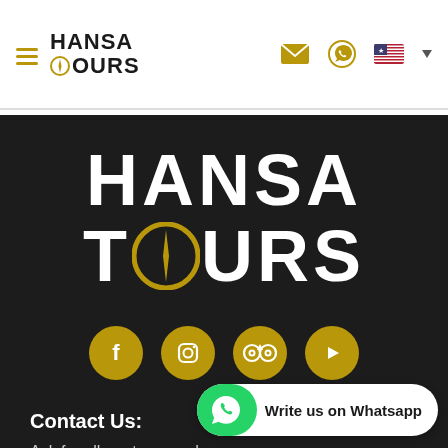[Figure (logo): Hansa Tours navigation bar logo with hamburger menu icon on left; envelope, WhatsApp, and US flag icons on right]
[Figure (logo): Large Hansa Tours logo in white bold text on dark background with compass O icon]
[Figure (infographic): Four gold circular social media icons: Facebook, Instagram, TripAdvisor, YouTube]
Contact Us:
Ask for all our tours and other destinations in Colombia, that we have